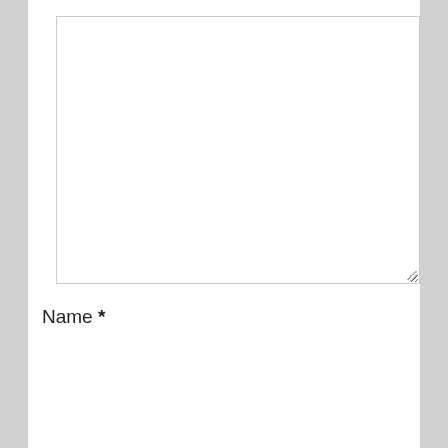[Figure (screenshot): Large empty textarea input field with resize handle in bottom-right corner]
Name *
[Figure (screenshot): Single-line text input field for name entry]
[Figure (infographic): Pure Earth advertisement banner. Left side (black background): 'We believe the global pollution crisis can be solved.' with 'can be solved.' in green. Middle: 'In a world where pollution doesn't stop at borders, we can all be part of the solution. JOIN US.' Right side: Pure Earth logo (diamond shape with arrow) and 'PURE EARTH' text in white.]